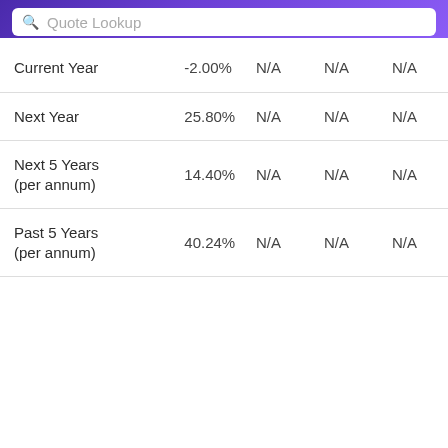|  |  |  |  |  |
| --- | --- | --- | --- | --- |
| Current Year | -2.00% | N/A | N/A | N/A |
| Next Year | 25.80% | N/A | N/A | N/A |
| Next 5 Years (per annum) | 14.40% | N/A | N/A | N/A |
| Past 5 Years (per annum) | 40.24% | N/A | N/A | N/A |